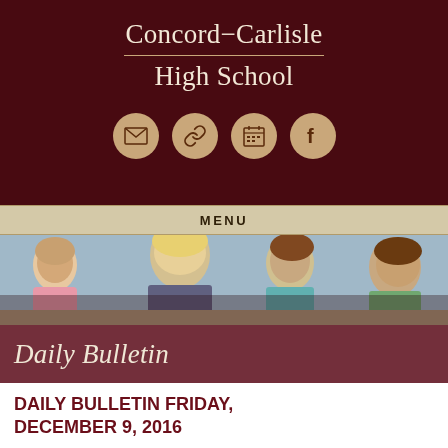Concord-Carlisle High School
[Figure (logo): Four circular golden icons: email envelope, chain link, calendar, and Facebook logo, arranged in a row against dark maroon background]
MENU
[Figure (photo): Banner photo of students studying at desks, several teenagers visible from the side and front]
Daily Bulletin
DAILY BULLETIN FRIDAY, DECEMBER 9, 2016
NEW EVENTS
Boys Varsity Hockey Senior Championship   Boys Varsity